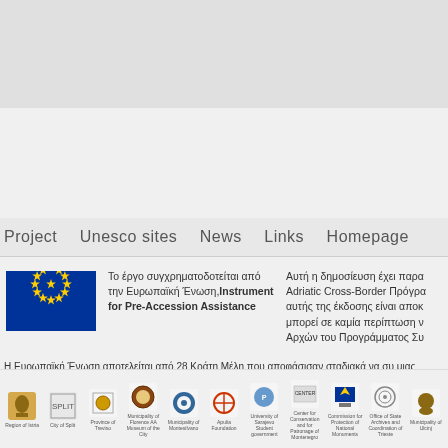Project  Unesco sites  News  Links  Homepage
[Figure (logo): European Union flag with blue background and yellow stars in a circle]
Το έργο συγχρηματοδοτείται από την Ευρωπαϊκή Ένωση,Instrument for Pre-Accession Assistance
Αυτή η δημοσίευση έχει παρα Adriatic Cross-Border Πρόγρα αυτής της έκδοσης είναι αποκ μπορεί σε καμία περίπτωση ν Αρχών του Προγράμματος Συ
Η Ευρωπαϊκή Ένωση αποτελείται από 28 Κράτη Μέλη που αποφάσισαν σταδιακά να συ μιας περιόδου 50 ετών, έχουν δημιουργήσει μια ζώνη σταθερότητας, δημοκρατίας και βι ανεκτικότητας και των ατομικών ελευθεριών. Η Ευρωπαϊκή Ένωση έχει δεσμευθεί να μα επιτεύγματα και τις αξίες της με τις χώρες και τους λαούς πέρα από τα σύνορά της.
[Figure (logo): Row of partner organization logos including Region of Istria, City of Split, Province of Treviso, Municipality of Florence, Municipality of Montesilvano, Apulia Foundation, University of Sarajevo, Center for Conservation and for Patronage of Montenegro, Commission for Protection of National Monuments, Office of State Archives and Coordination of Trieste, Municipality of Ulcinj]